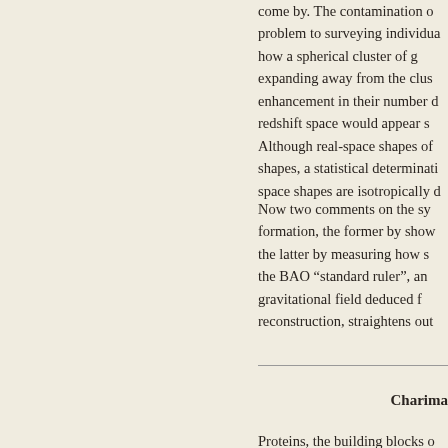come by. The contamination o problem to surveying individua how a spherical cluster of g expanding away from the clus enhancement in their number d redshift space would appear s Although real-space shapes of shapes, a statistical determinati space shapes are isotropically d
Now two comments on the sy formation, the former by show the latter by measuring how s the BAO "standard ruler", an gravitational field deduced f reconstruction, straightens out
Charima
Proteins, the building blocks o